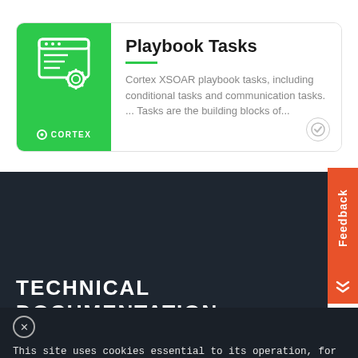[Figure (screenshot): Product card with green Cortex XSOAR branding on left and Playbook Tasks title on right, with description text and a checkmark icon]
Playbook Tasks
Cortex XSOAR playbook tasks, including conditional tasks and communication tasks. ... Tasks are the building blocks of...
TECHNICAL DOCUMENTATION
This site uses cookies essential to its operation, for analytics, and for personalized content and ads. By continuing to browse this site, you acknowledge the use of cookies. Privacy statemen
Cookie Settings